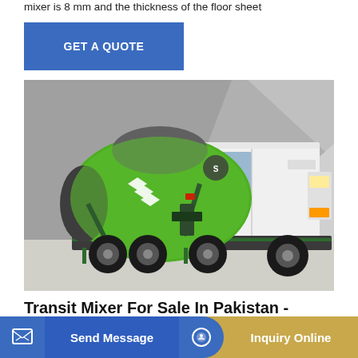mixer is 8 mm and the thickness of the floor sheet
[Figure (other): Blue 'GET A QUOTE' button with white text on blue background]
[Figure (photo): A green and white HOWO transit concrete mixer truck parked against a concrete wall background. The mixer drum is green with white triple-chevron logo and grey top.]
Transit Mixer For Sale In Pakistan - Transport Concrete
Before the concrete transit mixer truck arrives at the construction site, charges, the drum rotates forward at full speed at 14-18 rpm for 1-2 minutes, and then reverse
[Figure (other): Bottom navigation bar with 'Send Message' button on blue background and 'Inquiry Online' button on gold/yellow background, each with icons]